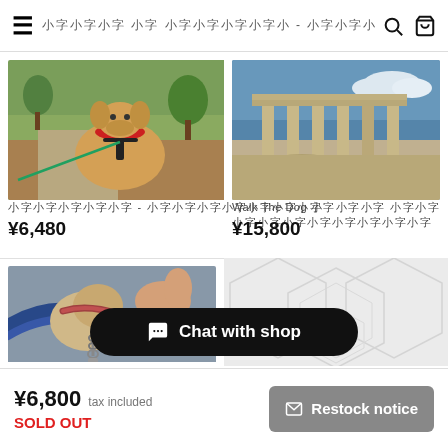≡  ショップ名 – カテゴリ (サブカテゴリ..   🔍  🛒
[Figure (photo): Dog with red bandana and harness on a leash outdoors on grass]
商品名A – 商品サブタイトル
¥6,480
[Figure (photo): Acropolis ancient ruins with blue sky and city background]
Walk The Dog 商品名 サブカテゴリ説明
¥15,800
[Figure (photo): Close-up of dog with rope collar and leash held by hand]
Chat with shop
¥6,800  tax included
SOLD OUT
Restock notice